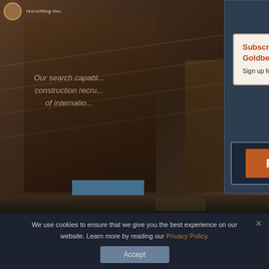[Figure (screenshot): Website screenshot showing a recruiting company hero section with a person walking up stairs in a warm sepia/orange tinted photo background. Text overlaid reads 'Our search capabi... construction recru... of internatio...' partially obscured by a modal popup.]
Our search capabi... construction recru... of internatio...
[Figure (screenshot): Modal popup dialog with dark navy background. Contains a speech bubble with text 'Subscribers get first access to Goldbeck Reports. Sign up for our once per month email updates:' and a large orange REGISTER button. Has a white X close button in top right corner.]
Subscribers get first access to Goldbeck Reports.
Sign up for our once per month email updates:
REGISTER
We use cookies to ensure that we give you the best experience on our website. Learn more by reading our Privacy Policy.
Accept